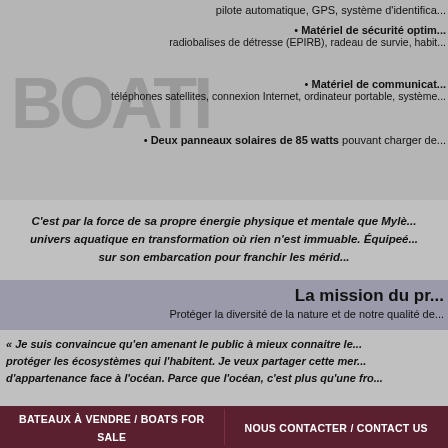pilote automatique, GPS, système d'identifica...
• Matériel de sécurité optim... radiobalises de détresse (EPIRB), radeau de survie, habit...
• Matériel de communicat... téléphones satellites, connexion Internet, ordinateur portable, système...
• Deux panneaux solaires de 85 watts pouvant charger de...
C'est par la force de sa propre énergie physique et mentale que Mylè... univers aquatique en transformation où rien n'est immuable. Équipee... sur son embarcation pour franchir les mérid...
La mission du pr...
Protéger la diversité de la nature et de notre qualité de...
« Je suis convaincue qu'en amenant le public à mieux connaitre le... protéger les écosystèmes qui l'habitent. Je veux partager cette mer... d'appartenance face à l'océan. Parce que l'océan, c'est plus qu'une fro...
Bateaux à vendre / Boats for sale   |   Nous contacter / Contact us